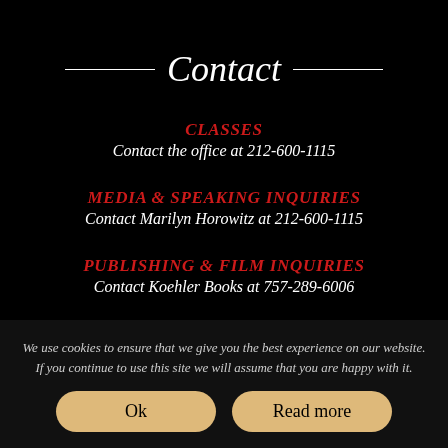Contact
CLASSES
Contact the office at 212-600-1115
MEDIA & SPEAKING INQUIRIES
Contact Marilyn Horowitz at 212-600-1115
PUBLISHING & FILM INQUIRIES
Contact Koehler Books at 757-289-6006
We use cookies to ensure that we give you the best experience on our website. If you continue to use this site we will assume that you are happy with it.
Ok
Read more